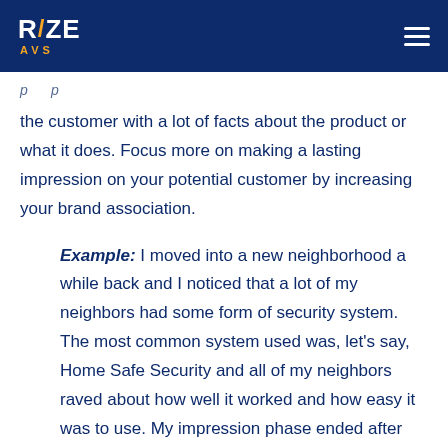RIZE AVS
the customer with a lot of facts about the product or what it does. Focus more on making a lasting impression on your potential customer by increasing your brand association.
Example: I moved into a new neighborhood a while back and I noticed that a lot of my neighbors had some form of security system. The most common system used was, let's say, Home Safe Security and all of my neighbors raved about how well it worked and how easy it was to use. My impression phase ended after